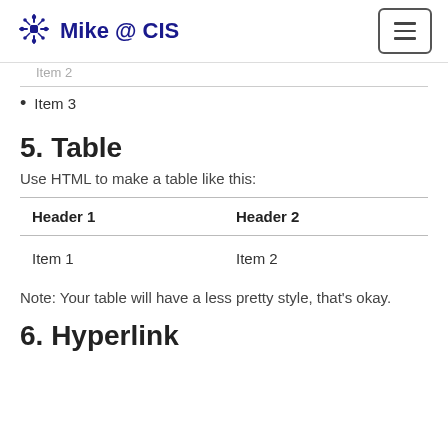Mike @ CIS
Item 3
5. Table
Use HTML to make a table like this:
| Header 1 | Header 2 |
| --- | --- |
| Item 1 | Item 2 |
Note: Your table will have a less pretty style, that's okay.
6. Hyperlink